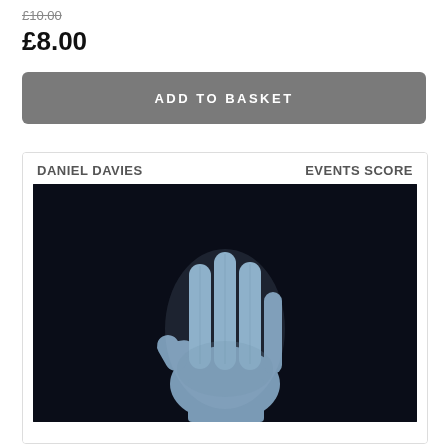£10.00 (strikethrough)
£8.00
ADD TO BASKET
[Figure (photo): Album cover for 'Events Score' by Daniel Davies — a pale blue/grey hand held up against a dark navy/black background, fingers spread upward. The text 'DANIEL DAVIES' appears in the upper left and 'EVENTS SCORE' in the upper right of the white-bordered album artwork.]